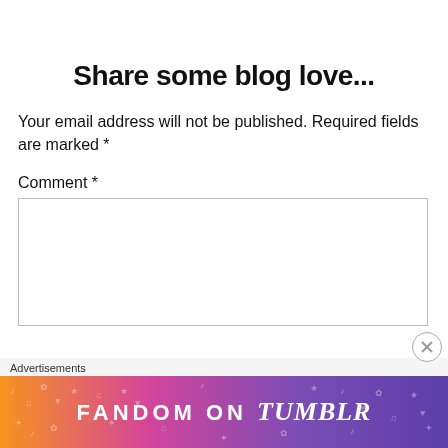Share some blog love...
Your email address will not be published. Required fields are marked *
Comment *
[Figure (screenshot): Empty comment text area input field with a thin border]
Advertisements
[Figure (illustration): Fandom on Tumblr promotional banner with colorful gradient background (orange, pink, purple) and decorative white icons/doodles. Text reads: FANDOM ON tumblr]